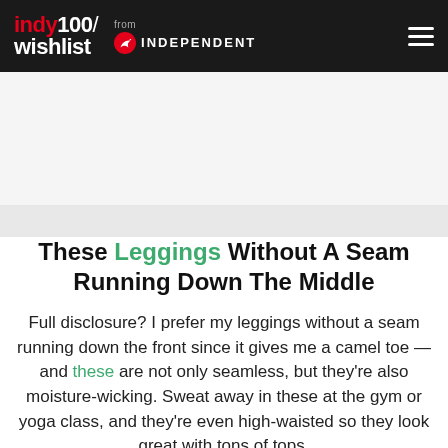indy100/wishlist from INDEPENDENT
These Leggings Without A Seam Running Down The Middle
Full disclosure? I prefer my leggings without a seam running down the front since it gives me a camel toe — and these are not only seamless, but they're also moisture-wicking. Sweat away in these at the gym or yoga class, and they're even high-waisted so they look great with tons of tops.
SEE IT ON AMAZON